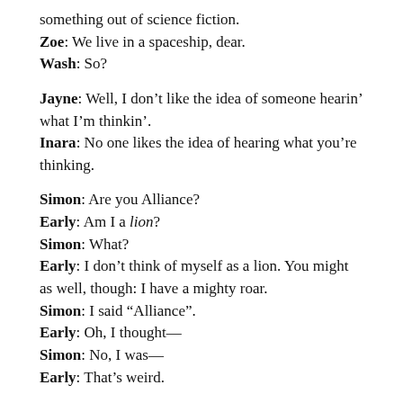something out of science fiction.
Zoe: We live in a spaceship, dear.
Wash: So?
Jayne: Well, I don't like the idea of someone hearin' what I'm thinkin'.
Inara: No one likes the idea of hearing what you're thinking.
Simon: Are you Alliance?
Early: Am I a lion?
Simon: What?
Early: I don't think of myself as a lion. You might as well, though: I have a mighty roar.
Simon: I said “Alliance”.
Early: Oh, I thought—
Simon: No, I was—
Early: That’s weird.